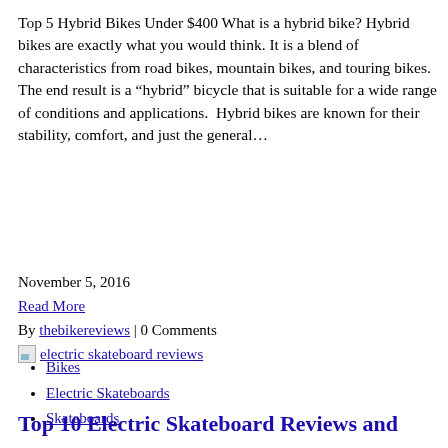Top 5 Hybrid Bikes Under $400 What is a hybrid bike? Hybrid bikes are exactly what you would think. It is a blend of characteristics from road bikes, mountain bikes, and touring bikes. The end result is a “hybrid” bicycle that is suitable for a wide range of conditions and applications.  Hybrid bikes are known for their stability, comfort, and just the general…
November 5, 2016
Read More
By thebikereviews | 0 Comments
[Figure (photo): electric skateboard reviews image thumbnail]
Bikes
Electric Skateboards
Skateboards
Top 10 Electric Skateboard Reviews and